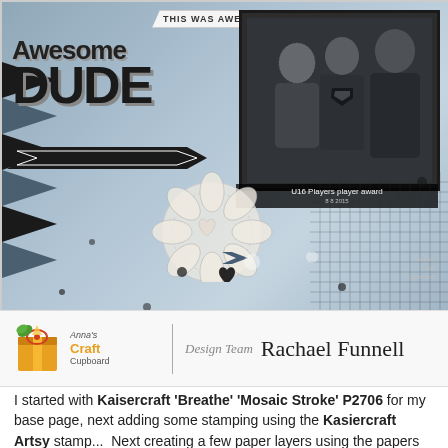[Figure (photo): Scrapbook layout page titled 'Awesome Dude' with a photo of three people (two males and a female), decorative chevron patterns, floral embellishments, hearts, and text elements including 'THIS WAS AWESOME' and 'U16 Players player award'. Blue-grey mixed media background with black and white decorative elements. Anna's Craft Cupboard logo and 'Design Team Rachael Funnell' credit at bottom.]
I started with Kaisercraft 'Breathe' 'Mosaic Stroke' P2706 for my base page, next adding some stamping using the Kasiercraft Artsy stamp...  Next creating a few paper layers using the papers from the & Rik Kaisercraft/Breathe t...